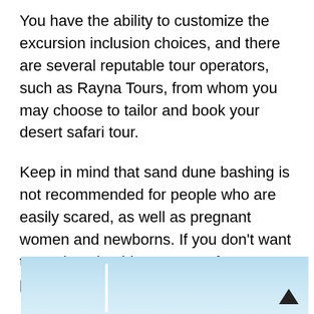You have the ability to customize the excursion inclusion choices, and there are several reputable tour operators, such as Rayna Tours, from whom you may choose to tailor and book your desert safari tour.
Keep in mind that sand dune bashing is not recommended for people who are easily scared, as well as pregnant women and newborns. If you don't want to go dune bashing as part of your tour, pick a tour that doesn't list it.
[Figure (photo): Blue sky photograph, partial view, with a white vertical streak (possibly a camel or pole) visible at the bottom left.]